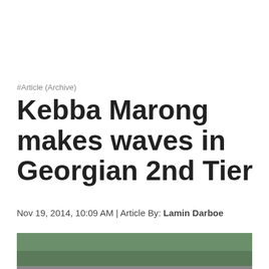#Article (Archive)
Kebba Marong makes waves in Georgian 2nd Tier
Nov 19, 2014, 10:09 AM | Article By: Lamin Darboe
[Figure (photo): Two men standing in front of a crowded stadium with many international flags visible in the stands and green trees in the background.]